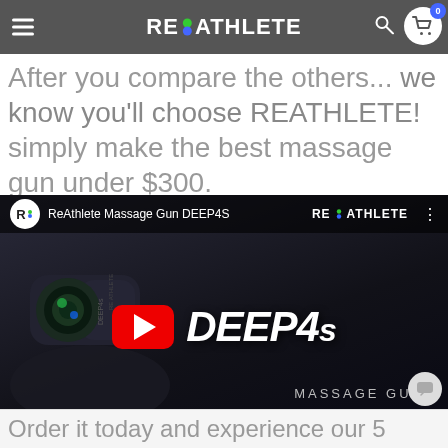REATHLETE navigation bar with hamburger menu, search, and cart
After you compare the others... we know you'll choose REATHLETE! simply make the best massage gun under $300.
[Figure (screenshot): YouTube video thumbnail for ReAthlete Massage Gun DEEP4S with YouTube play button, DEEP4s text in white italic, MASSAGE GUN label, and a hand holding the massage gun device]
Order it today and experience our 5